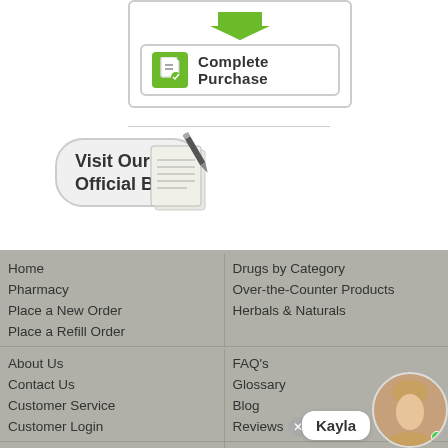[Figure (screenshot): Complete Purchase button with green arrow and document icon]
[Figure (screenshot): Visit Our Official Blog button with notebook and pen illustration]
Home
Pharmacy
Place a New Order
Place a Refill Order
Drugs by Category
Over-the-Counter Products
Herbals & Naturals
About Us
Contact Us
Customer Service
Customer Login
FAQ's
Glossary
Blog
Reviews
Become Our Affiliate
Disclaimer
Sitemap
Returns & Refunds